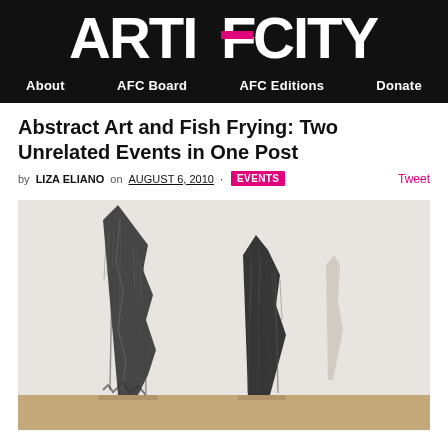ARTIFCITY
About  AFC Board  AFC Editions  Donate
Abstract Art and Fish Frying: Two Unrelated Events in One Post
by LIZA ELIANO on AUGUST 6, 2010 · EVENTS  Tweet
[Figure (photo): Abstract charcoal or graphite artwork showing dark textural vertical forms resembling torn paper or jagged rock shapes on a light background, displayed on a gallery floor.]